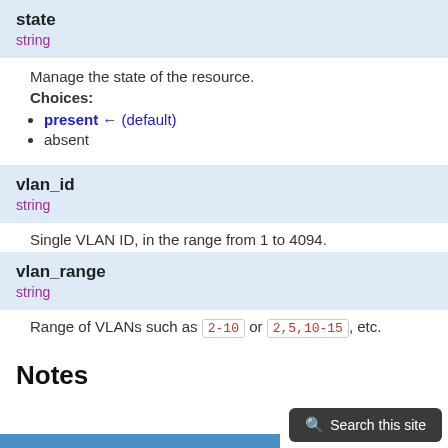state
string
Manage the state of the resource.
Choices:
present ← (default)
absent
vlan_id
string
Single VLAN ID, in the range from 1 to 4094.
vlan_range
string
Range of VLANs such as 2-10 or 2,5,10-15, etc.
Notes